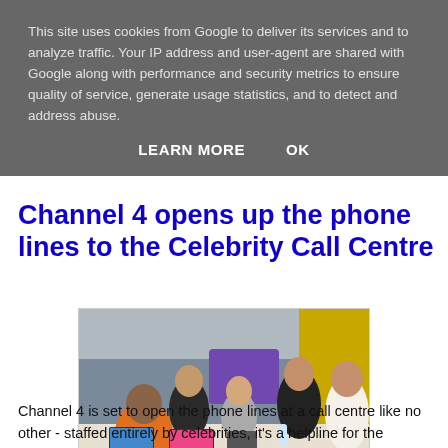This site uses cookies from Google to deliver its services and to analyze traffic. Your IP address and user-agent are shared with Google along with performance and security metrics to ensure quality of service, generate usage statistics, and to detect and address abuse.
LEARN MORE    OK
Channel 4 opens up the phone lines to the Celebrity Call Centre
[Figure (photo): Group of celebrities sitting around a call centre desk, some holding phones to their ears, with laptops and phones on the desk. A purple screen is visible in the background.]
Channel 4 is set to open the phone lines at a call centre like no other - staffed entirely by celebrities, it's a helpline for the